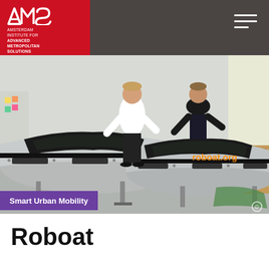AMS Amsterdam Institute for Advanced Metropolitan Solutions
[Figure (photo): Two workers assembling large autonomous boat hull units (roboats) in a workshop. The metallic boat bodies are on stands. A roboat.org logo watermark is visible on the image. A copyright symbol appears in the bottom right corner.]
Smart Urban Mobility
Roboat